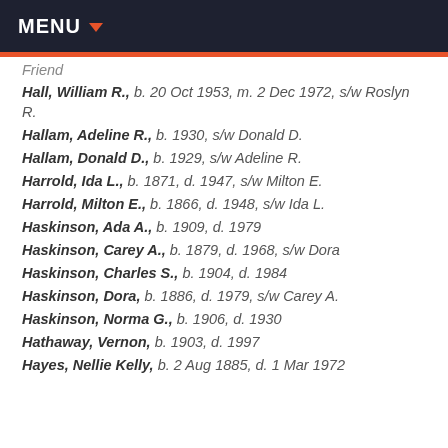MENU
Hall, William R., b. 20 Oct 1953, m. 2 Dec 1972, s/w Roslyn R.
Hallam, Adeline R., b. 1930, s/w Donald D.
Hallam, Donald D., b. 1929, s/w Adeline R.
Harrold, Ida L., b. 1871, d. 1947, s/w Milton E.
Harrold, Milton E., b. 1866, d. 1948, s/w Ida L.
Haskinson, Ada A., b. 1909, d. 1979
Haskinson, Carey A., b. 1879, d. 1968, s/w Dora
Haskinson, Charles S., b. 1904, d. 1984
Haskinson, Dora, b. 1886, d. 1979, s/w Carey A.
Haskinson, Norma G., b. 1906, d. 1930
Hathaway, Vernon, b. 1903, d. 1997
Hayes, Nellie Kelly, b. 2 Aug 1885, d. 1 Mar 1972